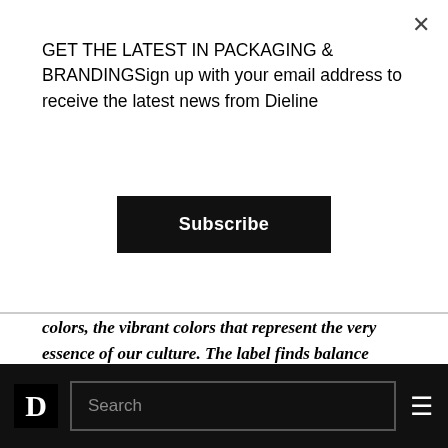GET THE LATEST IN PACKAGING & BRANDINGSign up with your email address to receive the latest news from Dieline
Subscribe
colors, the vibrant colors that represent the very essence of our culture. The label finds balance between tradition, contemporaneity, modernity and elegance.
We used elements in a subtle and thoughtful way with the intention of creating an integral bottle in which the components of the label do not compete with each other, but rather
D  Search  ≡